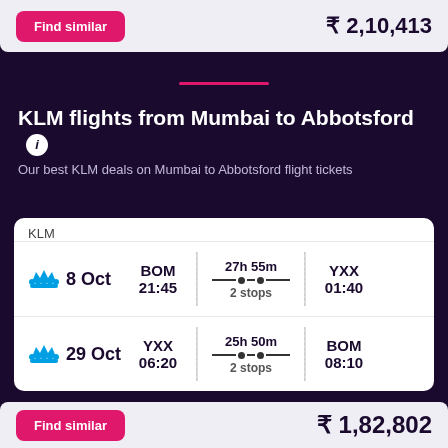Find similar   ₹ 2,10,413
KLM flights from Mumbai to Abbotsford ℹ
Our best KLM deals on Mumbai to Abbotsford flight tickets
| Airline | Date | From | Duration | To |
| --- | --- | --- | --- | --- |
| KLM | 8 Oct | BOM 21:45 | 27h 55m 2 stops | YXX 01:40 |
| KLM | 29 Oct | YXX 06:20 | 25h 50m 2 stops | BOM 08:10 |
Find similar   ₹ 1,82,802